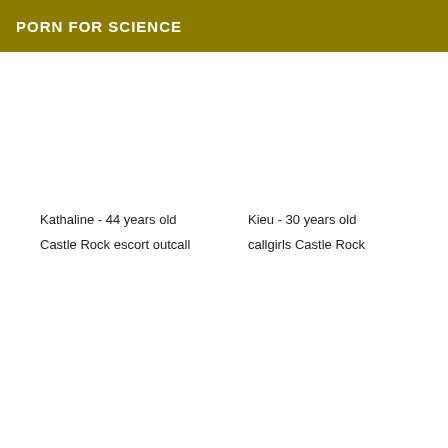PORN FOR SCIENCE
Kathaline - 44 years old
Castle Rock escort outcall
Kieu - 30 years old
callgirls Castle Rock